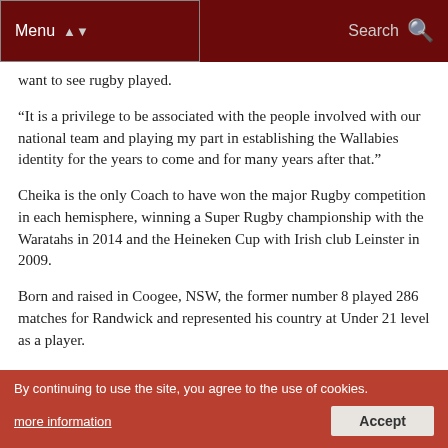Menu | Search
want to see rugby played.
“It is a privilege to be associated with the people involved with our national team and playing my part in establishing the Wallabies identity for the years to come and for many years after that.”
Cheika is the only Coach to have won the major Rugby competition in each hemisphere, winning a Super Rugby championship with the Waratahs in 2014 and the Heineken Cup with Irish club Leinster in 2009.
Born and raised in Coogee, NSW, the former number 8 played 286 matches for Randwick and represented his country at Under 21 level as a player.
Prior to his appointment as Wallabies Coach in 2014, Cheika had successfully coached Waratahs NSW (Super Rugby 2015), Stade Francais (Heineken...) Randwick (2001-2005) and Padova (1999-2000).
By continuing to use the site, you agree to the use of cookies. more information Accept